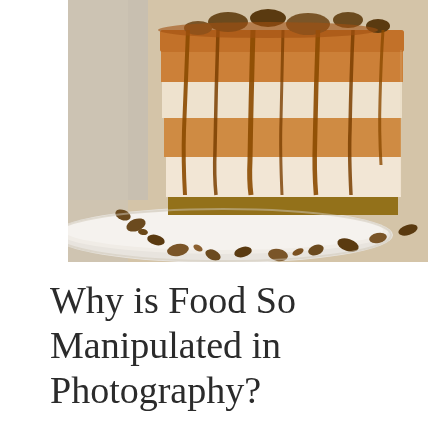[Figure (photo): Close-up photograph of a layered caramel cake with caramel dripping down the sides, topped with pecans and nuts, served on a white plate with scattered pecan pieces around the base.]
Why is Food So Manipulated in Photography?